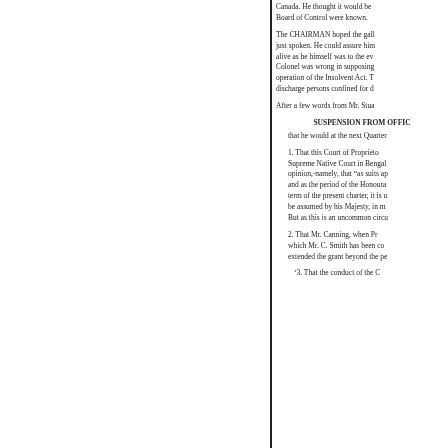Canada. He thought it would be Board of Control were known.
The CHAIRMAN hoped the gall just spoken. He could assure him alive as he himself was to the ev Colonel was wrong in supposing operation of the Insolvent Act. T discharge persons confined for d
After a few words from Mr. Stua
SUSPENSION FROM OFFIC
that he would at the next Quarter
1. That this Court of Proprieto Supreme Native Court in Bengal opinion,-namely, that "as suits ap and as the period of the Honoura term of the present charter, it is u be assumed by his Majesty, in m But as this is an uncommon circu
2. That Mr. Canning, when Pr which Mr. C. Smith has been co extended the grant beyond the pe
'3. That the conduct of the C